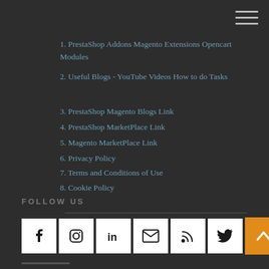1. PrestaShop Addons Magento Extensions Opencart Modules
2. Useful Blogs - YouTube Videos How to do Tasks
3. PrestaShop Magento Blogs Link
4. PrestaShop MarketPlace Link
5. Magento MarketPlace Link
6. Privacy Policy
7. Terms and Conditions of Use
8. Cookie Policy
FOLLOW US
[Figure (infographic): Social media icon buttons for Facebook, Instagram, LinkedIn, Email, RSS, and Twitter in white square boxes, plus an orange scroll-to-top button with upward chevron]